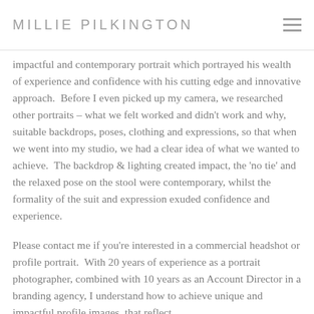MILLIE PILKINGTON
impactful and contemporary portrait which portrayed his wealth of experience and confidence with his cutting edge and innovative approach.  Before I even picked up my camera, we researched other portraits – what we felt worked and didn't work and why, suitable backdrops, poses, clothing and expressions, so that when we went into my studio, we had a clear idea of what we wanted to achieve.  The backdrop & lighting created impact, the 'no tie' and the relaxed pose on the stool were contemporary, whilst the formality of the suit and expression exuded confidence and experience.
Please contact me if you're interested in a commercial headshot or profile portrait.  With 20 years of experience as a portrait photographer, combined with 10 years as an Account Director in a branding agency, I understand how to achieve unique and impactful profile images, that reflect